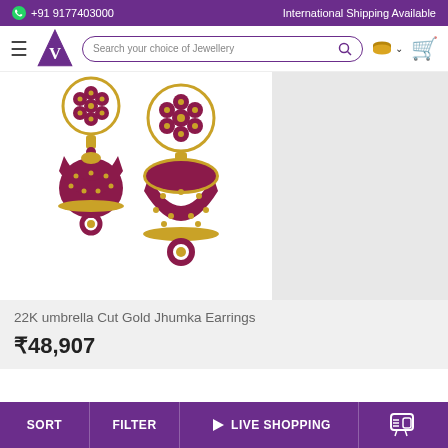+91 9177403000  International Shipping Available
[Figure (logo): Jewellery website navigation bar with hamburger menu, V-logo triangle, search bar 'Search your choice of Jewellery', currency selector, and cart icon]
[Figure (photo): 22K umbrella Cut Gold Jhumka Earrings - two gold earrings with ruby/pink gemstones in floral top and bell-shaped jhumka bottom with loop]
22K umbrella Cut Gold Jhumka Earrings
₹48,907
SORT  FILTER  ▶ LIVE SHOPPING  💬